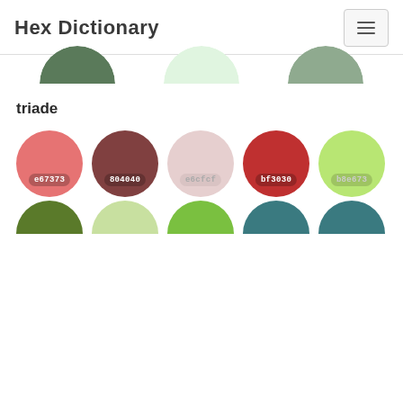Hex Dictionary
[Figure (illustration): Three partially visible color circles (green #5a7a5a, light green #e0f5e0, sage green #8faa8f) cropped at top of viewport]
triade
[Figure (illustration): Row of 5 color circles with hex labels: e67373 (salmon red), 804040 (dark maroon), e6cfcf (light pink), bf3030 (medium red), b8e673 (yellow green). Below: partial bottom halves of 5 more circles in green, light green, green, teal, teal.]